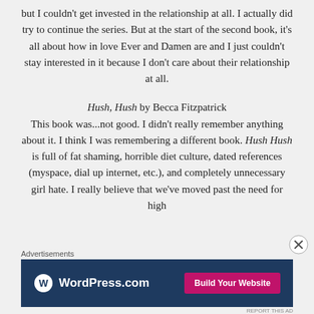but I couldn't get invested in the relationship at all. I actually did try to continue the series. But at the start of the second book, it's all about how in love Ever and Damen are and I just couldn't stay interested in it because I don't care about their relationship at all.
Hush, Hush by Becca Fitzpatrick
This book was...not good. I didn't really remember anything about it. I think I was remembering a different book. Hush Hush is full of fat shaming, horrible diet culture, dated references (myspace, dial up internet, etc.), and completely unnecessary girl hate. I really believe that we've moved past the need for high
[Figure (other): WordPress.com advertisement banner with logo and 'Build Your Website' button on dark blue background]